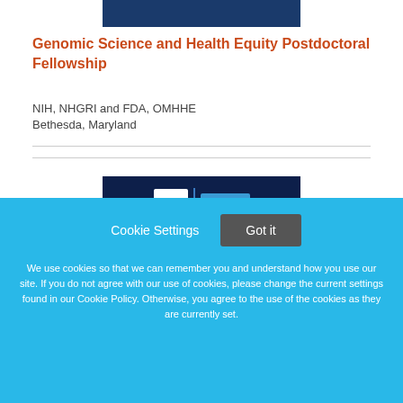[Figure (photo): Dark blue banner image at top of page]
Genomic Science and Health Equity Postdoctoral Fellowship
NIH, NHGRI and FDA, OMHHE
Bethesda, Maryland
[Figure (photo): Dark blue banner image with white and blue graphic elements]
Cookie Settings
Got it
We use cookies so that we can remember you and understand how you use our site. If you do not agree with our use of cookies, please change the current settings found in our Cookie Policy. Otherwise, you agree to the use of the cookies as they are currently set.